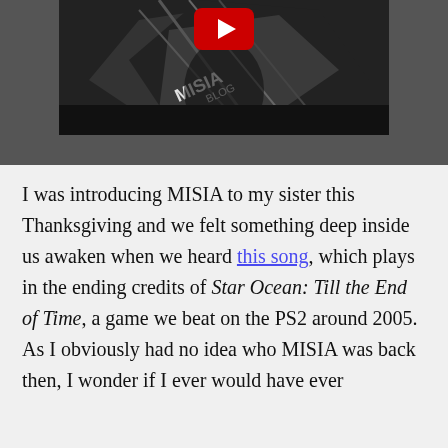[Figure (screenshot): A YouTube video thumbnail showing a black and white image with a large red YouTube play button icon at the top center. The thumbnail shows text 'MISIA' and appears to be a music video or performance.]
I was introducing MISIA to my sister this Thanksgiving and we felt something deep inside us awaken when we heard this song, which plays in the ending credits of Star Ocean: Till the End of Time, a game we beat on the PS2 around 2005. As I obviously had no idea who MISIA was back then, I wonder if I ever would have ever